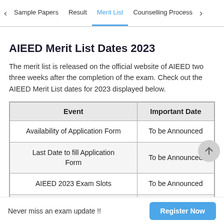Sample Papers | Result | Merit List | Counselling Process
AIEED Merit List Dates 2023
The merit list is released on the official website of AIEED two three weeks after the completion of the exam. Check out the AIEED Merit List dates for 2023 displayed below.
| Event | Important Date |
| --- | --- |
| Availability of Application Form | To be Announced |
| Last Date to fill Application Form | To be Announced |
| AIEED 2023 Exam Slots | To be Announced |
| AIEED Result | 7 Days after the |
Never miss an exam update !!  Register Now